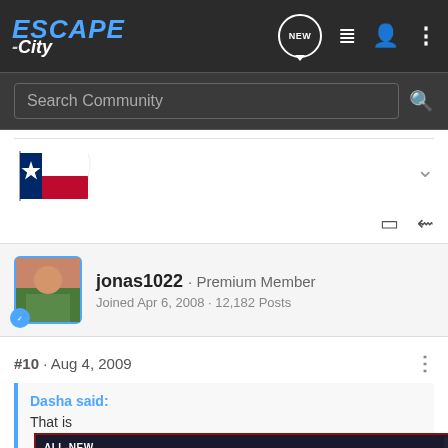ESCAPE-City
[Figure (screenshot): Search bar with 'Search Community' placeholder text and magnifying glass icon]
[Figure (photo): Texas state flag waving]
jonas1022 · Premium Member
Joined Apr 6, 2008 · 12,182 Posts
#10 · Aug 4, 2009
Dasha said:
That is to do this!!! :
[Figure (photo): Nitto ALL-NEW NOMAD GRAPPLER CROSSOVER-TERRAIN TIRE advertisement banner]